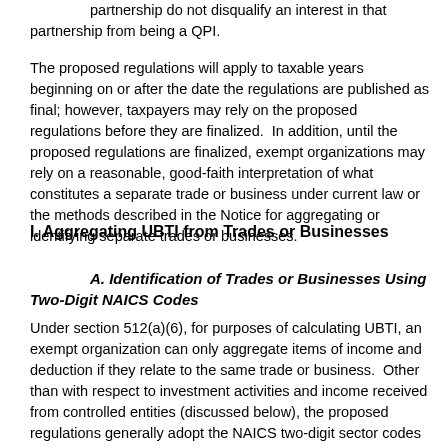partnership do not disqualify an interest in that partnership from being a QPI.
The proposed regulations will apply to taxable years beginning on or after the date the regulations are published as final; however, taxpayers may rely on the proposed regulations before they are finalized.  In addition, until the proposed regulations are finalized, exempt organizations may rely on a reasonable, good-faith interpretation of what constitutes a separate trade or business under current law or the methods described in the Notice for aggregating or identifying separate trades or businesses.
I. Aggregating UBTI from Trades or Businesses
A. Identification of Trades or Businesses Using Two-Digit NAICS Codes
Under section 512(a)(6), for purposes of calculating UBTI, an exempt organization can only aggregate items of income and deduction if they relate to the same trade or business.  Other than with respect to investment activities and income received from controlled entities (discussed below), the proposed regulations generally adopt the NAICS two-digit sector codes as the primary method for identifying trades or businesses.